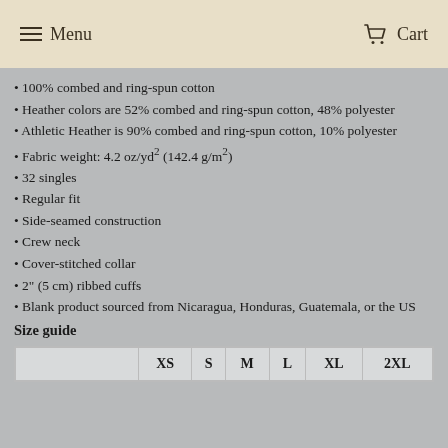Menu   Cart
• 100% combed and ring-spun cotton
• Heather colors are 52% combed and ring-spun cotton, 48% polyester
• Athletic Heather is 90% combed and ring-spun cotton, 10% polyester
• Fabric weight: 4.2 oz/yd² (142.4 g/m²)
• 32 singles
• Regular fit
• Side-seamed construction
• Crew neck
• Cover-stitched collar
• 2" (5 cm) ribbed cuffs
• Blank product sourced from Nicaragua, Honduras, Guatemala, or the US
Size guide
|  | XS | S | M | L | XL | 2XL |
| --- | --- | --- | --- | --- | --- | --- |